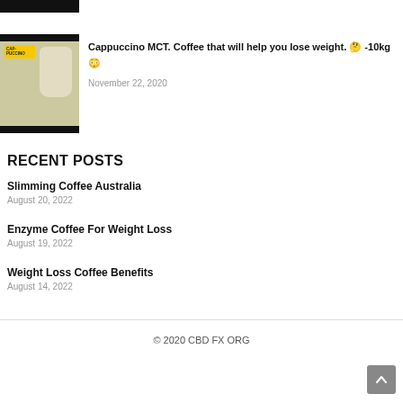[Figure (photo): Partial top image strip showing a cropped photo]
[Figure (photo): Thumbnail image of Cappuccino MCT product with coffee cup]
Cappuccino MCT. Coffee that will help you lose weight. 🤔 -10kg 😳
November 22, 2020
RECENT POSTS
Slimming Coffee Australia
August 20, 2022
Enzyme Coffee For Weight Loss
August 19, 2022
Weight Loss Coffee Benefits
August 14, 2022
© 2020 CBD FX ORG